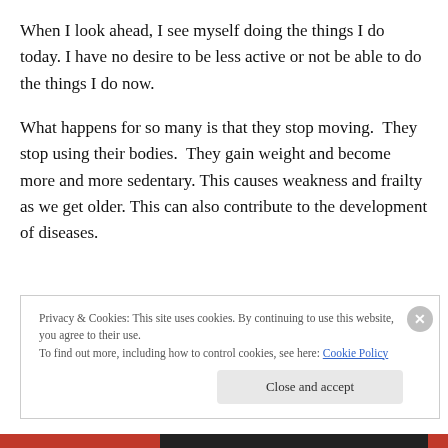When I look ahead, I see myself doing the things I do today. I have no desire to be less active or not be able to do the things I do now.
What happens for so many is that they stop moving.  They stop using their bodies.  They gain weight and become more and more sedentary. This causes weakness and frailty as we get older. This can also contribute to the development of diseases.
Privacy & Cookies: This site uses cookies. By continuing to use this website, you agree to their use.
To find out more, including how to control cookies, see here: Cookie Policy
Close and accept